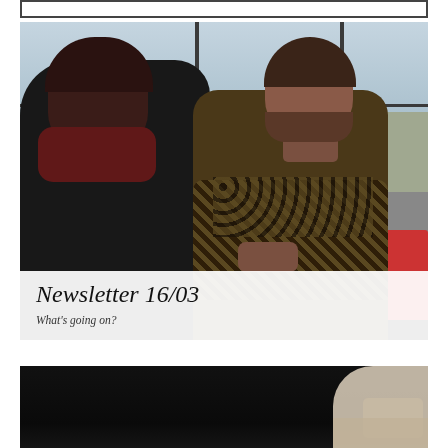[Figure (photo): Top partial image — appears to be a bordered box/frame, partially visible at the top of the page]
[Figure (photo): Two people sitting at a dark table in what appears to be a cafe or restaurant with large windows overlooking a river with a bridge. Person on left has dark coat and reddish scarf, back to camera. Person on right faces camera, wearing a patterned Nordic/Icelandic sweater. Red chairs visible. White text overlay at bottom shows Newsletter title.]
Newsletter 16/03
What's going on?
[Figure (photo): Bottom partial photo — dark/black toned image, partially cut off, showing silhouettes of people]